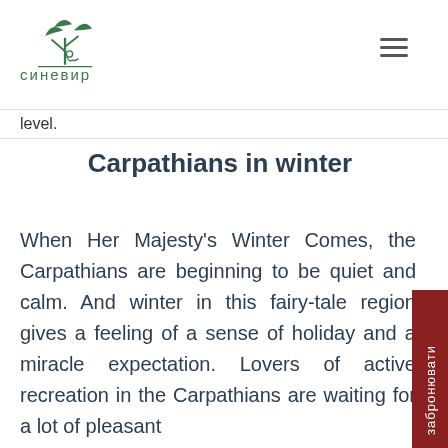синевир
level.
Carpathians in winter
When Her Majesty's Winter Comes, the Carpathians are beginning to be quiet and calm. And winter in this fairy-tale region gives a feeling of a sense of holiday and a miracle expectation. Lovers of active recreation in the Carpathians are waiting for a lot of pleasant